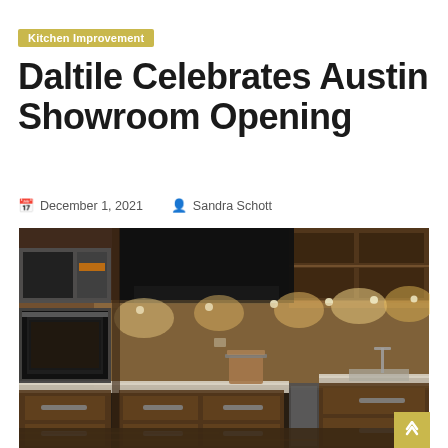Kitchen Improvement
Daltile Celebrates Austin Showroom Opening
December 1, 2021  Sandra Schott
[Figure (photo): Modern kitchen showroom with wood-grain cabinetry, under-cabinet warm lighting, stainless steel appliances including microwave and oven, a range hood, open upper shelving, a sink area, and dark wood floors.]